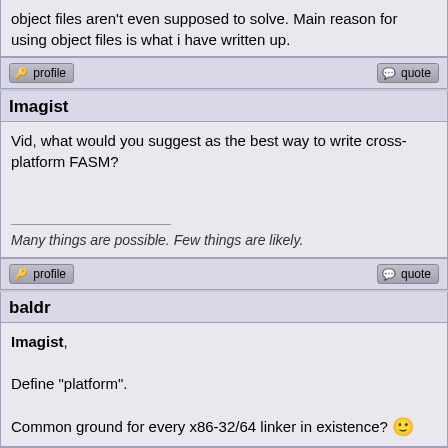object files aren't even supposed to solve. Main reason for using object files is what i have written up.
profile | quote
Imagist
Vid, what would you suggest as the best way to write cross-platform FASM?

Many things are possible. Few things are likely.
profile | quote
baldr
Imagist,

Define "platform".

Common ground for every x86-32/64 linker in existence? :)
profile | quote
vid
Quote:
Vid, what would you suggest as the best way to write cross-platform FASM?